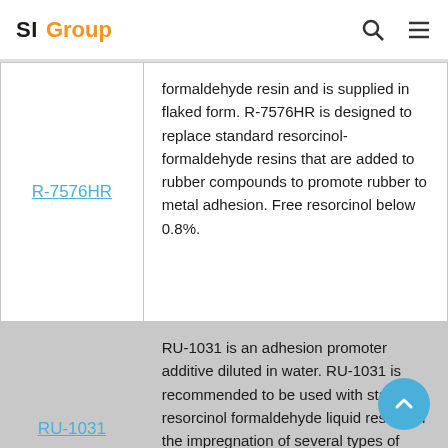SI Group
| Product | Description |
| --- | --- |
| R-7576HR | formaldehyde resin and is supplied in flaked form. R-7576HR is designed to replace standard resorcinol-formaldehyde resins that are added to rubber compounds to promote rubber to metal adhesion. Free resorcinol below 0.8%. |
| RU-1031 | RU-1031 is an adhesion promoter additive diluted in water. RU-1031 is recommended to be used with standard resorcinol formaldehyde liquid resins, in the impregnation of several types of wire or textiles such as polyester, nylon, polyamide, |